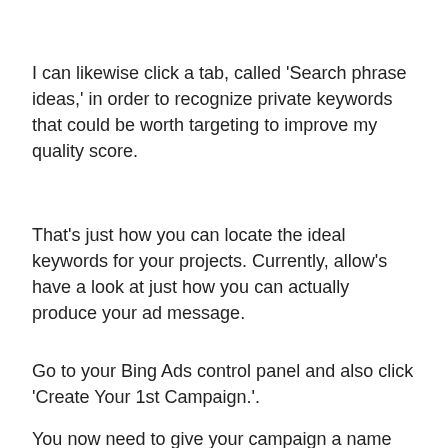I can likewise click a tab, called 'Search phrase ideas,' in order to recognize private keywords that could be worth targeting to improve my quality score.
That's just how you can locate the ideal keywords for your projects. Currently, allow's have a look at just how you can actually produce your ad message.
Go to your Bing Ads control panel and also click 'Create Your 1st Campaign.'.
You now need to give your campaign a name and established a campaign budget plan.